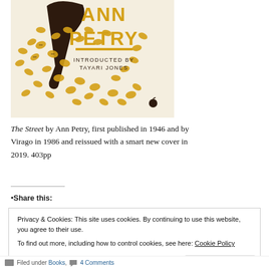[Figure (illustration): Book cover of 'The Street' by Ann Petry. Yellow/gold and dark brown design featuring scattered coffee bean shapes and an umbrella. Text reads 'ANN PETRY' in large gold letters, 'INTRODUCTED BY TAYARI JONES' below, with a small apple logo at bottom right. Cream/off-white background.]
The Street by Ann Petry, first published in 1946 and by Virago in 1986 and reissued with a smart new cover in 2019. 403pp
•Share this:
Privacy & Cookies: This site uses cookies. By continuing to use this website, you agree to their use.
To find out more, including how to control cookies, see here: Cookie Policy
Close and accept
Filed under Books,   4 Comments